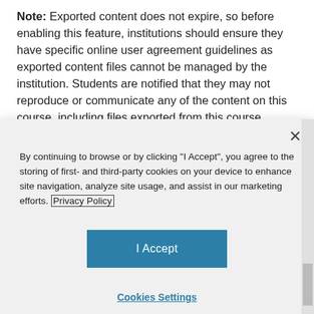Note: Exported content does not expire, so before enabling this feature, institutions should ensure they have specific online user agreement guidelines as exported content files cannot be managed by the institution. Students are notified that they may not reproduce or communicate any of the content on this course, including files exported from this course without the prior written permission of their
[Figure (screenshot): Cookie consent modal dialog with close button (×), cookie policy text referencing 'Privacy Policy' link, an 'I Accept' button in teal, and a 'Cookies Settings' link below.]
content. Content is exported as a ZIP file and downloaded